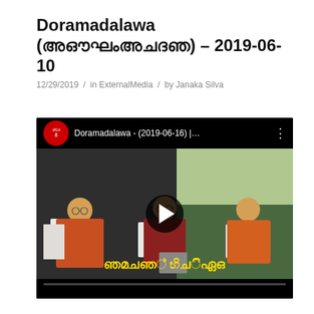Doramadalawa (දොරමදලාව) – 2019-06-10
12/29/2019 / in ExternalMedia / by Janaka Silva
[Figure (screenshot): YouTube video embed showing Buddhist monks seated in robes on a TV set. Video title reads 'Doramadalawa - (2019-06-16) |...' with a play button overlay and Sinhala subtitle text at the bottom.]